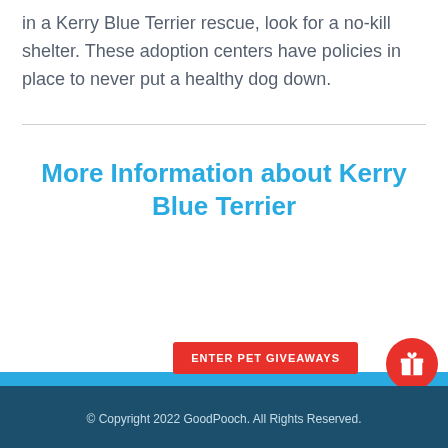in a Kerry Blue Terrier rescue, look for a no-kill shelter. These adoption centers have policies in place to never put a healthy dog down.
More Information about Kerry Blue Terrier
© Copyright 2022 GoodPooch. All Rights Reserved.